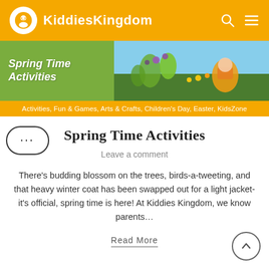KiddiesKingdom
[Figure (screenshot): Spring Time Activities banner image with gardening photo]
Activities, Fun & Games, Arts & Crafts, Children's Day, Easter, KidsZone
Spring Time Activities
Leave a comment
There’s budding blossom on the trees, birds-a-tweeting, and that heavy winter coat has been swapped out for a light jacket- it’s official, spring time is here! At Kiddies Kingdom, we know parents…
Read More